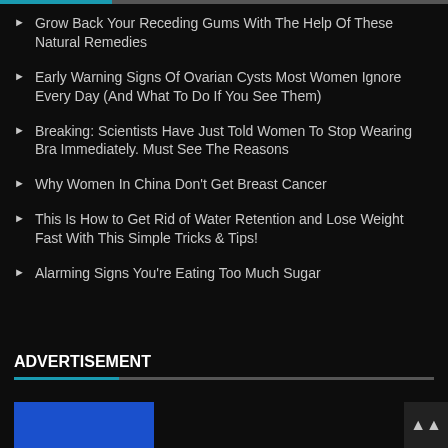Grow Back Your Receding Gums With The Help Of These Natural Remedies
Early Warning Signs Of Ovarian Cysts Most Women Ignore Every Day (And What To Do If You See Them)
Breaking: Scientists Have Just Told Women To Stop Wearing Bra Immediately. Must See The Reasons
Why Women In China Don't Get Breast Cancer
This Is How to Get Rid of Water Retention and Lose Weight Fast With This Simple Tricks & Tips!
Alarming Signs You're Eating Too Much Sugar
ADVERTISEMENT
[Figure (other): Blue advertisement banner placeholder at bottom of page]